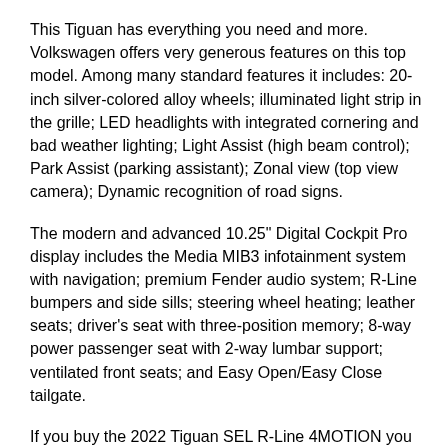This Tiguan has everything you need and more. Volkswagen offers very generous features on this top model. Among many standard features it includes: 20-inch silver-colored alloy wheels; illuminated light strip in the grille; LED headlights with integrated cornering and bad weather lighting; Light Assist (high beam control); Park Assist (parking assistant); Zonal view (top view camera); Dynamic recognition of road signs.
The modern and advanced 10.25" Digital Cockpit Pro display includes the Media MIB3 infotainment system with navigation; premium Fender audio system; R-Line bumpers and side sills; steering wheel heating; leather seats; driver's seat with three-position memory; 8-way power passenger seat with 2-way lumbar support; ventilated front seats; and Easy Open/Easy Close tailgate.
If you buy the 2022 Tiguan SEL R-Line 4MOTION you will feel on top of the world with every possible feature available at your fingertips, but the good news are that it will only cost you around $37K.  Or if you prefer to buy the base model Tiguan S then you can stay at a low price of $26K only for a a nice SUV like this one.